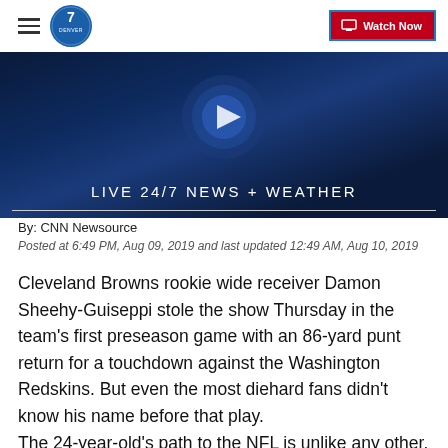Denver 7 — Watch Now
[Figure (screenshot): Dark blue banner image with text 'LIVE 24/7 NEWS + WEATHER']
By: CNN Newsource
Posted at 6:49 PM, Aug 09, 2019 and last updated 12:49 AM, Aug 10, 2019
Cleveland Browns rookie wide receiver Damon Sheehy-Guiseppi stole the show Thursday in the team's first preseason game with an 86-yard punt return for a touchdown against the Washington Redskins. But even the most diehard fans didn't know his name before that play.
The 24-year-old's path to the NFL is unlike any other.